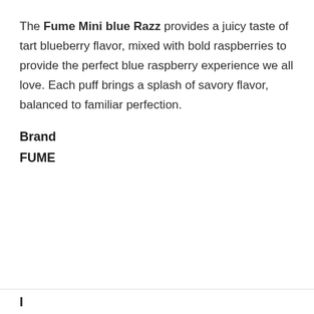The Fume Mini blue Razz provides a juicy taste of tart blueberry flavor, mixed with bold raspberries to provide the perfect blue raspberry experience we all love. Each puff brings a splash of savory flavor, balanced to familiar perfection.
Brand
FUME